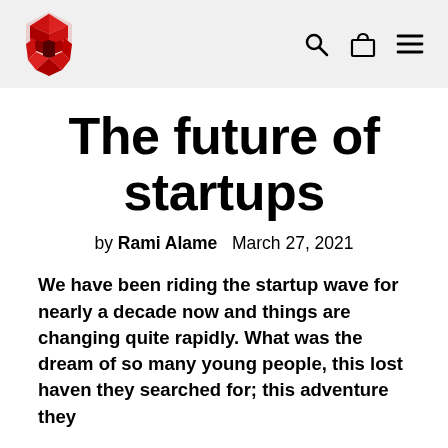[Figure (logo): Red geometric spartan helmet logo in origami/polygon style]
The future of startups
by Rami Alame   March 27, 2021
We have been riding the startup wave for nearly a decade now and things are changing quite rapidly. What was the dream of so many young people, this lost haven they searched for; this adventure they